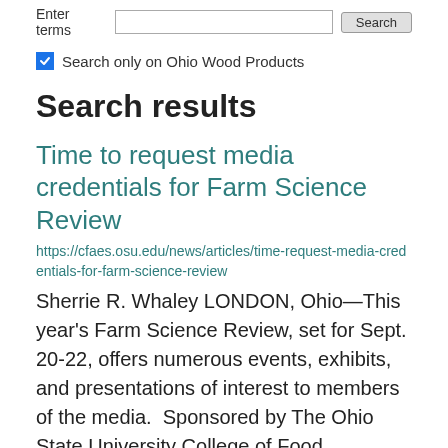Enter terms [search input] Search
Search only on Ohio Wood Products
Search results
Time to request media credentials for Farm Science Review
https://cfaes.osu.edu/news/articles/time-request-media-credentials-for-farm-science-review
Sherrie R. Whaley LONDON, Ohio—This year's Farm Science Review, set for Sept. 20-22, offers numerous events, exhibits, and presentations of interest to members of the media.  Sponsored by The Ohio State University College of Food,